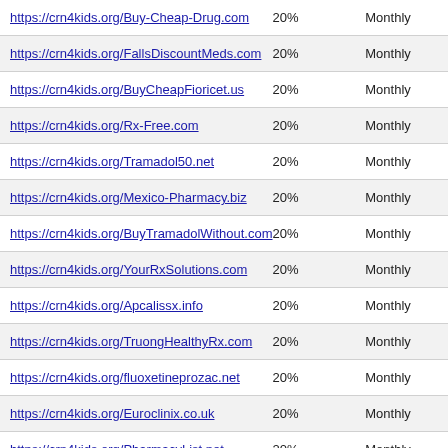| https://crn4kids.org/Buy-Cheap-Drug.com | 20% | Monthly |
| https://crn4kids.org/FallsDiscountMeds.com | 20% | Monthly |
| https://crn4kids.org/BuyCheapFioricet.us | 20% | Monthly |
| https://crn4kids.org/Rx-Free.com | 20% | Monthly |
| https://crn4kids.org/Tramadol50.net | 20% | Monthly |
| https://crn4kids.org/Mexico-Pharmacy.biz | 20% | Monthly |
| https://crn4kids.org/BuyTramadolWithout.com | 20% | Monthly |
| https://crn4kids.org/YourRxSolutions.com | 20% | Monthly |
| https://crn4kids.org/Apcalissx.info | 20% | Monthly |
| https://crn4kids.org/TruongHealthyRx.com | 20% | Monthly |
| https://crn4kids.org/fluoxetineprozac.net | 20% | Monthly |
| https://crn4kids.org/Euroclinix.co.uk | 20% | Monthly |
| https://crn4kids.org/PharmacyList.net | 20% | Monthly |